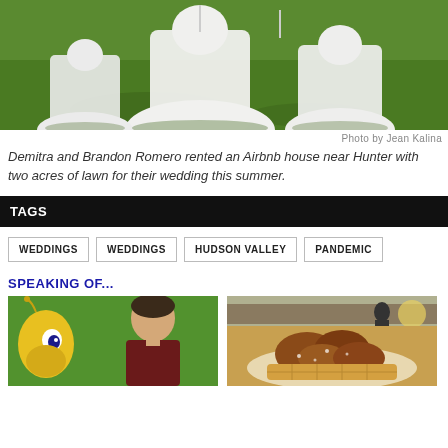[Figure (photo): Wedding dresses on a green lawn, outdoor setting]
Photo by Jean Kalina
Demitra and Brandon Romero rented an Airbnb house near Hunter with two acres of lawn for their wedding this summer.
TAGS
WEDDINGS
WEDDINGS
HUDSON VALLEY
PANDEMIC
SPEAKING OF...
[Figure (photo): Cartoon bee character next to a man, green background]
[Figure (photo): Food dish (fried chicken/waffles) on a plate with outdoor seating scene above]